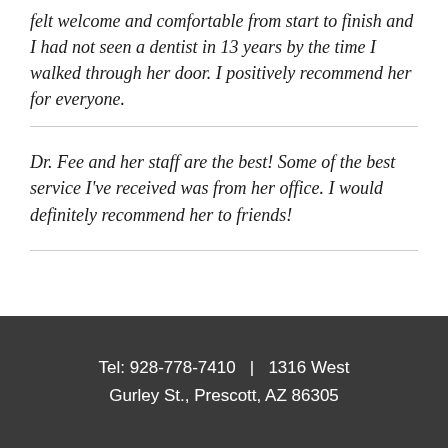felt welcome and comfortable from start to finish and I had not seen a dentist in 13 years by the time I walked through her door. I positively recommend her for everyone.
Dr. Fee and her staff are the best! Some of the best service I've received was from her office. I would definitely recommend her to friends!
Tel: 928-778-7410  |  1316 West Gurley St., Prescott, AZ 86305